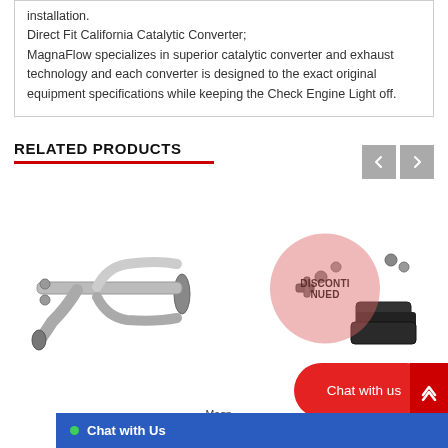installation.
Direct Fit California Catalytic Converter;
MagnaFlow specializes in superior catalytic converter and exhaust technology and each converter is designed to the exact original equipment specifications while keeping the Check Engine Light off.
RELATED PRODUCTS
[Figure (photo): Exhaust system component — stainless steel dual outlet exhaust pipe assembly]
[Figure (photo): Exhaust tip/tailpipe kit with brackets and hardware, overlaid with a DISCONTINUED circle badge]
MagnaFlow...
Chat with Us